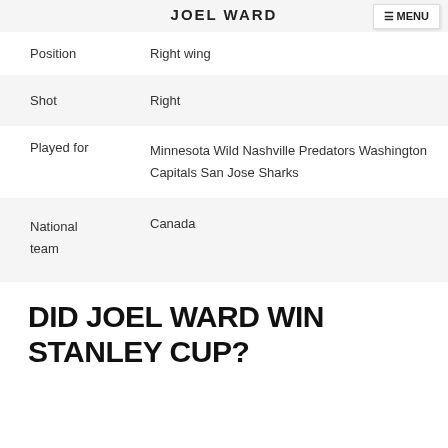JOEL WARD
| Position | Right wing |
| Shot | Right |
| Played for | Minnesota Wild Nashville Predators Washington Capitals San Jose Sharks |
| National team | Canada |
DID JOEL WARD WIN STANLEY CUP?